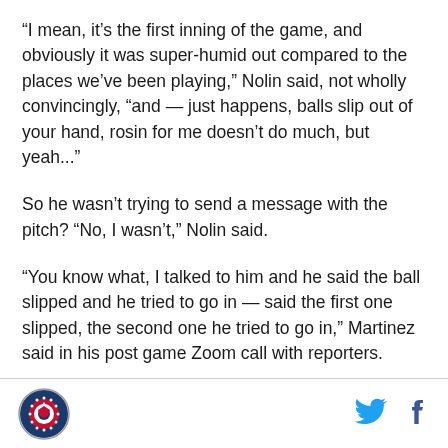“I mean, it’s the first inning of the game, and obviously it was super-humid out compared to the places we’ve been playing,” Nolin said, not wholly convincingly, “and — just happens, balls slip out of your hand, rosin for me doesn’t do much, but yeah...”
So he wasn’t trying to send a message with the pitch? “No, I wasn’t,” Nolin said.
“You know what, I talked to him and he said the ball slipped and he tried to go in — said the first one slipped, the second one he tried to go in,” Martinez said in his post game Zoom call with reporters.
“So, Freddie came over, I talked to him for a minute
[Figure (logo): Circular logo with eagle and shield emblem]
[Figure (logo): Twitter bird icon in blue]
[Figure (logo): Facebook f icon in dark blue]